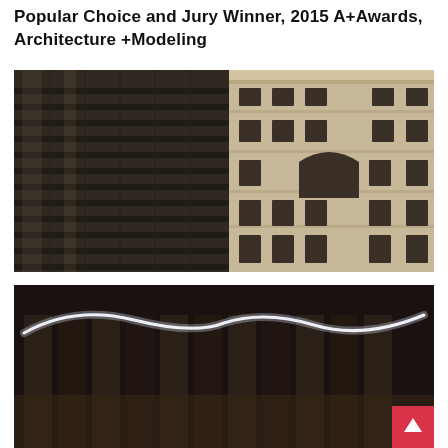Popular Choice and Jury Winner, 2015 A+Awards, Architecture +Modeling
[Figure (photo): Architectural photograph showing contrast between a dark modern glass and steel skyscraper on the left and a classical ornate beige stone building on the right, shot from below looking up.]
[Figure (photo): Night or low-light architectural photograph of a modern building facade with a curved glowing white neon light installation above glass panels. A red scroll-to-top button is visible in the lower right corner.]